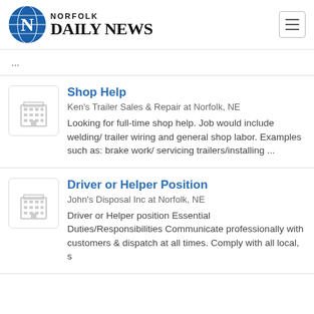Norfolk Daily News
...
[Figure (illustration): Company building icon placeholder]
Shop Help
Ken's Trailer Sales & Repair at Norfolk, NE
Looking for full-time shop help. Job would include welding/ trailer wiring and general shop labor. Examples such as: brake work/ servicing trailers/installing ...
[Figure (illustration): Company building icon placeholder]
Driver or Helper Position
John's Disposal Inc at Norfolk, NE
Driver or Helper position Essential Duties/Responsibilities Communicate professionally with customers & dispatch at all times. Comply with all local, s